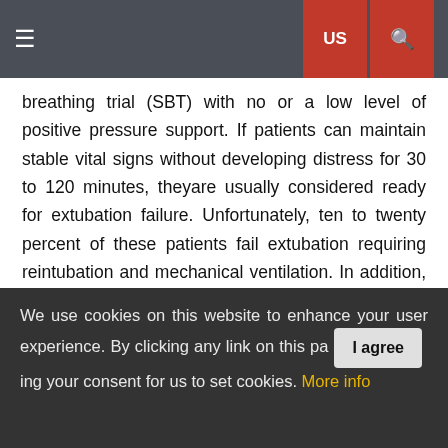US | [search]
breathing trial (SBT) with no or a low level of positive pressure support. If patients can maintain stable vital signs without developing distress for 30 to 120 minutes, theyare usually considered ready for extubation failure. Unfortunately, ten to twenty percent of these patients fail extubation requiring reintubation and mechanical ventilation. In addition, mortality rates in reintubated patientshave been reported at 26 to 50 percent compared to 3-12 percent in patients that remain extubated.
Multiple indices and predictors have been studied to identify patients at risk of extubation failure so interventions can be provided after extubation to prevent reintubation. Some of
We use cookies on this website to enhance your user experience. By clicking any link on this pa [I agree] ing your consent for us to set cookies. More info